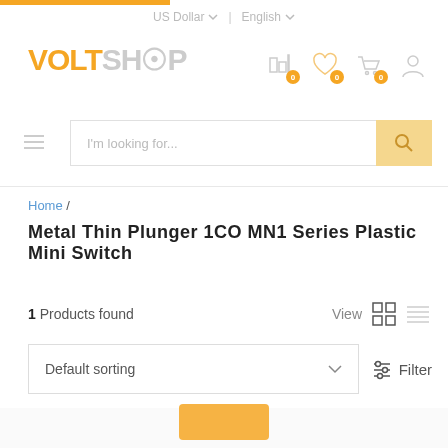US Dollar | English
[Figure (logo): VoltShop logo with orange VOLT text and grey SHOP text with globe icon]
I'm looking for...
Home / Metal Thin Plunger 1CO MN1 Series Plastic Mini Switch
1 Products found
Default sorting